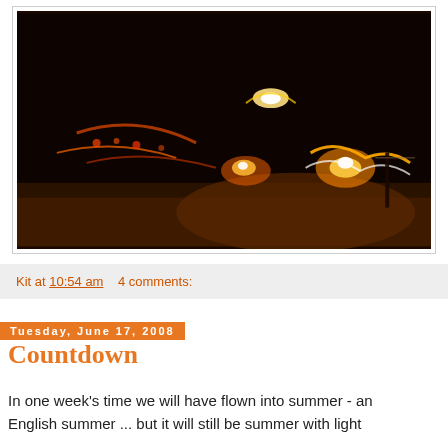[Figure (photo): Dark nighttime photo of people with fire/sparklers creating light streaks, orange and white glowing lights against a very dark background, sandy ground visible below]
Kit at 10:54 am   4 comments:
Tuesday, June 17, 2008
Countdown
In one week's time we will have flown into summer - an English summer ... but it will still be summer with light